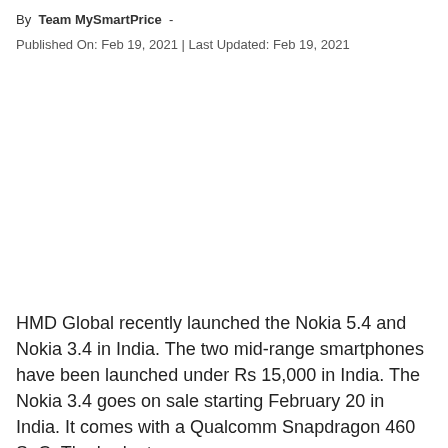By Team MySmartPrice -
Published On: Feb 19, 2021 | Last Updated: Feb 19, 2021
HMD Global recently launched the Nokia 5.4 and Nokia 3.4 in India. The two mid-range smartphones have been launched under Rs 15,000 in India. The Nokia 3.4 goes on sale starting February 20 in India. It comes with a Qualcomm Snapdragon 460 SoC. The budget